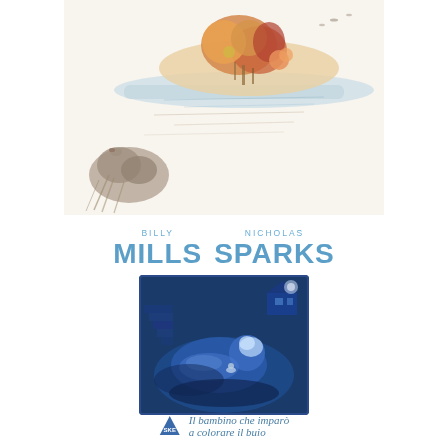[Figure (illustration): Watercolor illustration of a beach or coastal scene with sandy dunes, colorful vegetation and flowers in the upper portion, and a small animal (bird or raccoon) in the lower left foreground. Soft pastel tones of beige, orange, and blue.]
BILLY MILLS   NICHOLAS SPARKS
[Figure (illustration): Dark blue monochromatic illustration showing a sleeping child curled up in bed, with a small house visible in the upper right corner, rendered in deep blue tones suggesting night time.]
Il bambino che imparò a colorare il buio